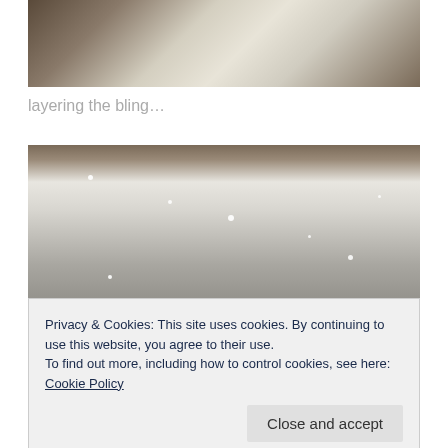[Figure (photo): Close-up photo of white fabric or wedding dress material with embroidered floral patterns and crystal/rhinestone embellishments, partially unfolded on a dark surface]
layering the bling…
[Figure (photo): Close-up photo of heavily beaded and rhinestone-encrusted white fabric, showing the edge/hem of a garment with dense crystal and pearl embellishments against a dark background]
Privacy & Cookies: This site uses cookies. By continuing to use this website, you agree to their use.
To find out more, including how to control cookies, see here: Cookie Policy
[Figure (photo): Partial view of pearls and beaded embellishments on dark fabric at the bottom of the page]